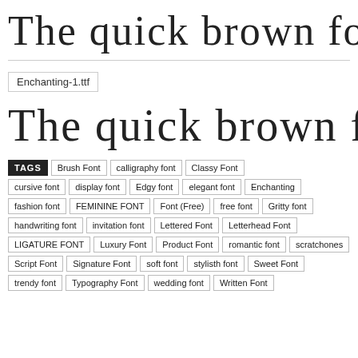[Figure (illustration): Script/calligraphy font preview showing 'The quick brown fox jum' in a decorative cursive font (top, lighter weight)]
Enchanting-1.ttf
[Figure (illustration): Script/calligraphy font preview showing 'The quick brown fox jum' in a decorative cursive font (bottom, slightly bolder)]
TAGS: Brush Font, calligraphy font, Classy Font, cursive font, display font, Edgy font, elegant font, Enchanting, fashion font, FEMININE FONT, Font (Free), free font, Gritty font, handwriting font, invitation font, Lettered Font, Letterhead Font, LIGATURE FONT, Luxury Font, Product Font, romantic font, scratchones, Script Font, Signature Font, soft font, stylisth font, Sweet Font, trendy font, Typography Font, wedding font, Written Font